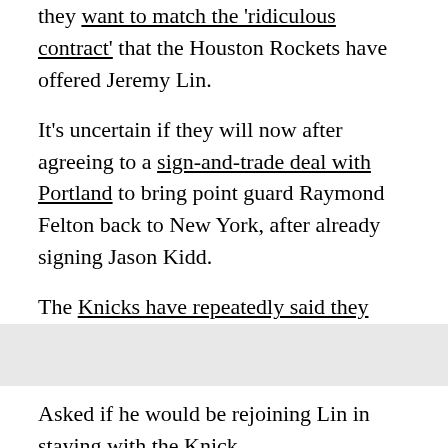they want to match the 'ridiculous contract' that the Houston Rockets have offered Jeremy Lin.
It's uncertain if they will now after agreeing to a sign-and-trade deal with Portland to bring point guard Raymond Felton back to New York, after already signing Jason Kidd.
The Knicks have repeatedly said they would match any offer for Lin, but the Rockets made it difficult with a three-year, $25 million deal that's worth about $15 million in the third year. New York has until 11:59 p.m. EDT on Tuesday to match the offer sheet for the restricted free agent.
Asked if he would be rejoining Lin in staying with the Knicks...